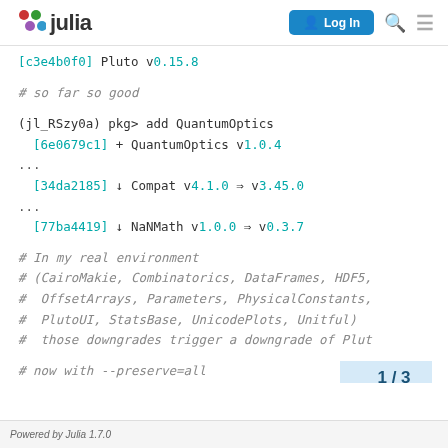julia | Log In
[c3e4b0f0] Pluto v0.15.8
# so far so good
(jl_RSzy0a) pkg> add QuantumOptics
  [6e0679c1] + QuantumOptics v1.0.4
...
  [34da2185] ↓ Compat v4.1.0 ⇒ v3.45.0
...
  [77ba4419] ↓ NaNMath v1.0.0 ⇒ v0.3.7
# In my real environment
# (CairoMakie, Combinatorics, DataFrames, HDF5,
#  OffsetArrays, Parameters, PhysicalConstants,
#  PlutoUI, StatsBase, UnicodePlots, Unitful)
#  those downgrades trigger a downgrade of Plut
# now with --preserve=all
1 / 3